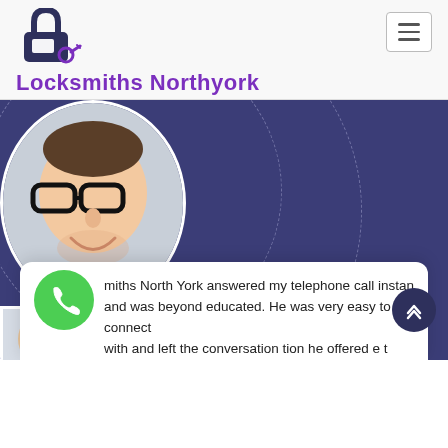[Figure (logo): Purple lock icon with a key card/credential symbol]
Locksmiths Northyork
[Figure (illustration): Dark blue/purple background with three circular profile photos of men connected by dashed circle arcs, representing a network of locksmiths]
[Figure (photo): Green phone call button icon on white card]
miths North York answered my telephone call instan and was beyond educated. He was very easy to connect with and left the conversation tion he offered e t